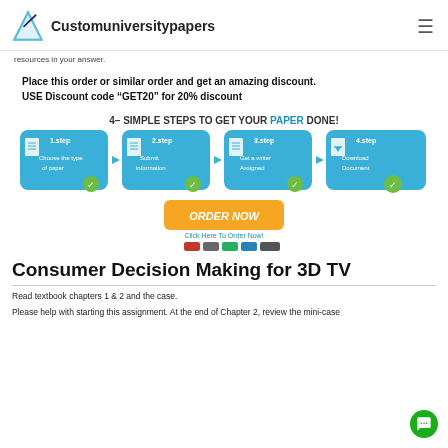Customuniversitypapers
resources in your answer.
Place this order or similar order and get an amazing discount. USE Discount code "GET20" for 20% discount
[Figure (infographic): 4 simple steps to get your paper done infographic with ORDER NOW button and payment icons]
Consumer Decision Making for 3D TV
Read textbook chapters 1 & 2 and the case.
Please help with starting this assignment. At the end of Chapter 2, review the mini-case